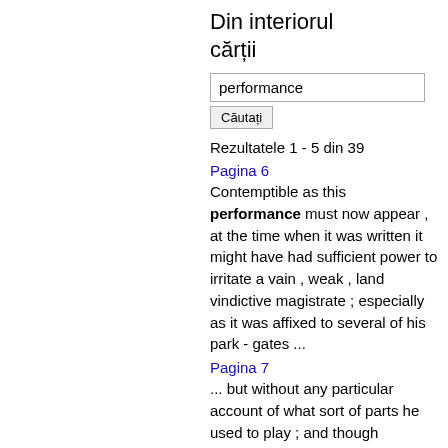Din interiorul cărții
performance
Căutați
Rezultatele 1 - 5 din 39
Pagina 6
Contemptible as this performance must now appear , at the time when it was written it might have had sufficient power to irritate a vain , weak , land vindictive magistrate ; especially as it was affixed to several of his park - gates ...
Pagina 7
... but without any particular account of what sort of parts he used to play ; and though